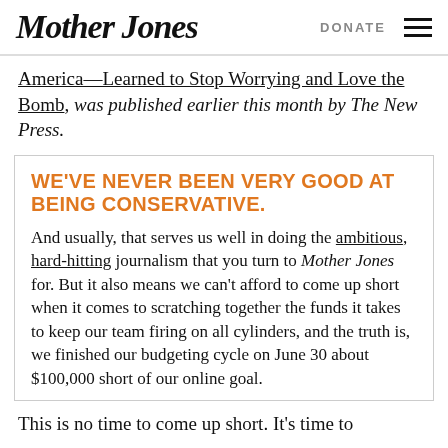Mother Jones | DONATE
America—Learned to Stop Worrying and Love the Bomb, was published earlier this month by The New Press.
WE'VE NEVER BEEN VERY GOOD AT BEING CONSERVATIVE.
And usually, that serves us well in doing the ambitious, hard-hitting journalism that you turn to Mother Jones for. But it also means we can't afford to come up short when it comes to scratching together the funds it takes to keep our team firing on all cylinders, and the truth is, we finished our budgeting cycle on June 30 about $100,000 short of our online goal.
This is no time to come up short. It's time to